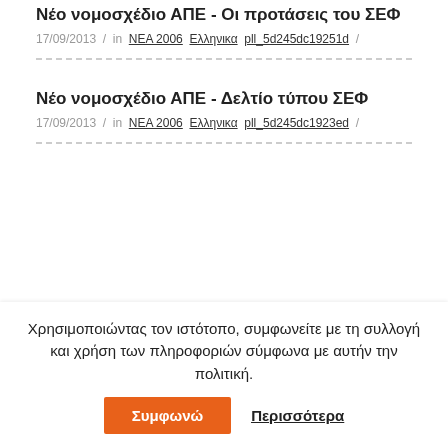Νέο νομοσχέδιο ΑΠΕ - Οι προτάσεις του ΣΕΦ
17/09/2013 / in NEA 2006 Ελληνικα pll_5d245dc19251d /
Νέο νομοσχέδιο ΑΠΕ - Δελτίο τύπου ΣΕΦ
17/09/2013 / in NEA 2006 Ελληνικα pll_5d245dc1923ed /
Χρησιμοποιώντας τον ιστότοπο, συμφωνείτε με τη συλλογή και χρήση των πληροφοριών σύμφωνα με αυτήν την πολιτική.
Συμφωνώ
Περισσότερα